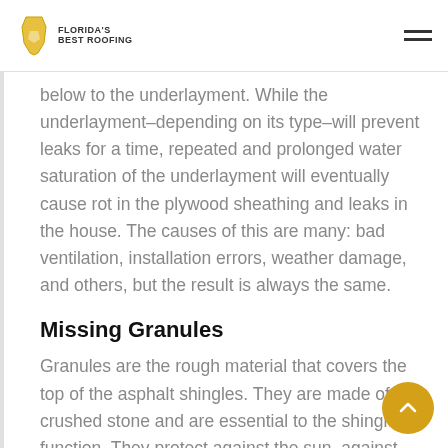Florida's Best Roofing
below to the underlayment. While the underlayment–depending on its type–will prevent leaks for a time, repeated and prolonged water saturation of the underlayment will eventually cause rot in the plywood sheathing and leaks in the house. The causes of this are many: bad ventilation, installation errors, weather damage, and others, but the result is always the same.
Missing Granules
Granules are the rough material that covers the top of the asphalt shingles. They are made of crushed stone and are essential to the shingles' function. They protect against the sun, against water, increase fire safety,